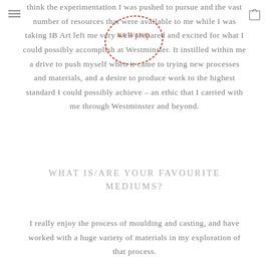think the experimentation I was pushed to pursue and the vast number of resources that were available to me while I was taking IB Art left me very well prepared and excited for what I could possibly accomplish at Westminster. It instilled within me a drive to push myself when it came to trying new processes and materials, and a desire to produce work to the highest standard I could possibly achieve – an ethic that I carried with me through Westminster and beyond.
WHAT IS/ARE YOUR FAVOURITE MEDIUMS?
I really enjoy the process of moulding and casting, and have worked with a huge variety of materials in my exploration of that process.